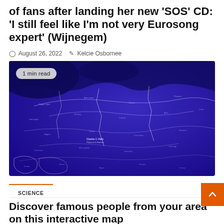of fans after landing her new 'SOS' CD: 'I still feel like I'm not very Eurosong expert' (Wijnegem)
August 26, 2022  Kelcie Osbornee
[Figure (map): A blue-purple interactive map showing geographic regions with white boundary lines and white text labels. A '1 min read' badge appears in the upper left corner of the image.]
SCIENCE
Discover famous people from your area on this interactive map